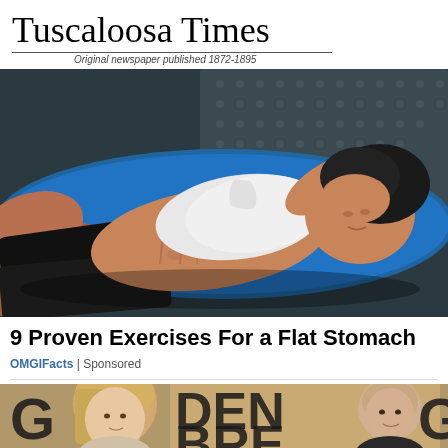Tuscaloosa Times
Original newspaper published 1872-1895
[Figure (photo): Woman in athletic wear (white crop top, black shorts) lying on a blue exercise mat, showing toned abdominal muscles, photographed from above at an angle.]
9 Proven Exercises For a Flat Stomach
OMGIFacts | Sponsored
[Figure (photo): Two celebrities at the Golden Globes event — a blonde woman on the left and a bald man on the right, with large 'GOLDEN GLOBES' text visible in the background.]